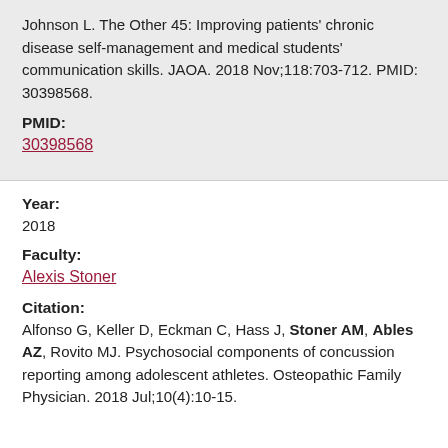Johnson L. The Other 45: Improving patients' chronic disease self-management and medical students' communication skills. JAOA. 2018 Nov;118:703-712. PMID: 30398568.
PMID:
30398568
Year:
2018
Faculty:
Alexis Stoner
Citation:
Alfonso G, Keller D, Eckman C, Hass J, Stoner AM, Ables AZ, Rovito MJ. Psychosocial components of concussion reporting among adolescent athletes. Osteopathic Family Physician. 2018 Jul;10(4):10-15.